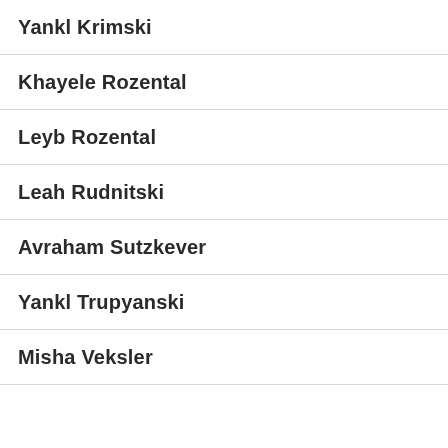Yankl Krimski
Khayele Rozental
Leyb Rozental
Leah Rudnitski
Avraham Sutzkever
Yankl Trupyanski
Misha Veksler